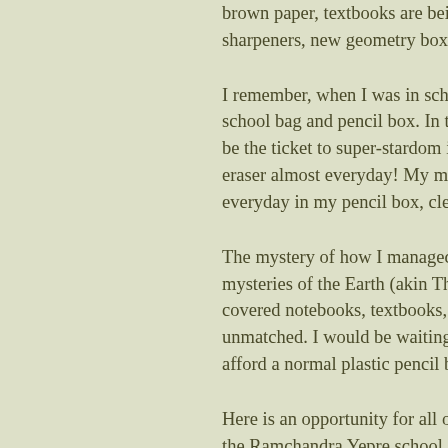brown paper, textbooks are being sh... sharpeners, new geometry boxes...w...
I remember, when I was in school (b... school bag and pencil box. In those ... be the ticket to super-stardom in the... eraser almost everyday! My mother... everyday in my pencil box, clearly b...
The mystery of how I managed to lo... mysteries of the Earth (akin The Be... covered notebooks, textbooks, new ... unmatched. I would be waiting to re... afford a normal plastic pencil box, o...
Here is an opportunity for all of us t... the Ramchandra Yepre school on th... and this year we have a list of 20 stu... uniforms, belt, tie, books etc.
I have listed the details in the Imme... and some are very bright. I would su...